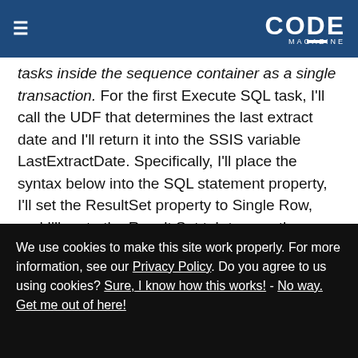CODE MAGAZINE
tasks inside the sequence container as a single transaction. For the first Execute SQL task, I'll call the UDF that determines the last extract date and I'll return it into the SSIS variable LastExtractDate. Specifically, I'll place the syntax below into the SQL statement property, I'll set the ResultSet property to Single Row, and I'll go to the Result Set tab to map the name of the query result set column (LastExtractDate) to the SSIS variable of the same name.
We use cookies to make this site work properly. For more information, see our Privacy Policy. Do you agree to us using cookies? Sure, I know how this works! - No way. Get me out of here!